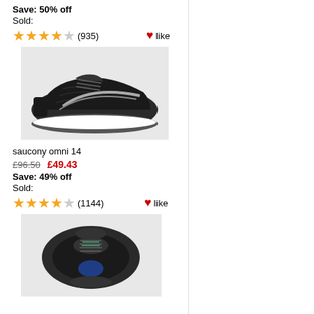Save: 50% off
Sold:
★★★★☆ (935)  ♥ like
[Figure (photo): Black Saucony running shoe, side view]
saucony omni 14
£96.50  £49.43
Save: 49% off
Sold:
★★★★☆ (1144)  ♥ like
[Figure (photo): Dark grey Saucony running shoe, top-down view]